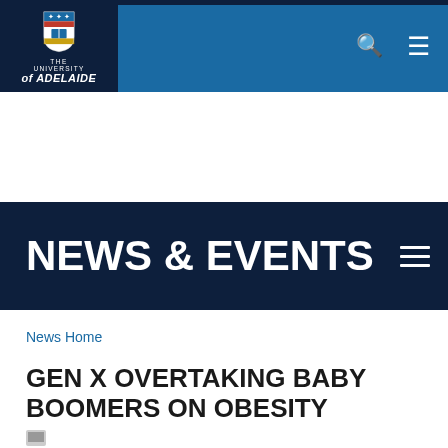[Figure (logo): The University of Adelaide logo with crest and text]
NEWS & EVENTS
News Home
GEN X OVERTAKING BABY BOOMERS ON OBESITY